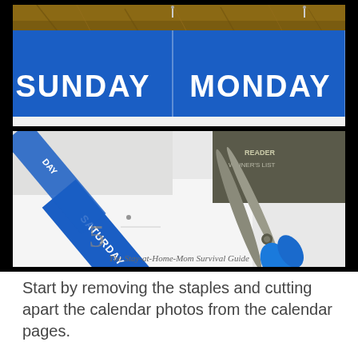[Figure (photo): Two photographs stacked vertically against a black background. Top photo shows a blue calendar header with 'SUNDAY' and 'MONDAY' text in white bold letters, with staples visible at the top edge and a brown/hay background above. Bottom photo shows scissors (blue handles) cutting calendar pages, with 'SATURDAY' visible on a blue calendar strip, a '5' date visible, and watermark text 'The Stay-at-Home-Mom Survival Guide' at the bottom.]
Start by removing the staples and cutting apart the calendar photos from the calendar pages.